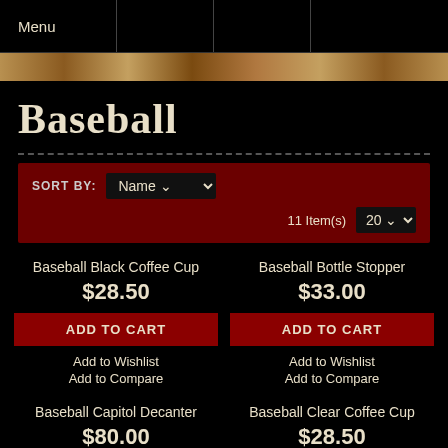Menu
Baseball
SORT BY: Name | 11 Item(s) | 20
Baseball Black Coffee Cup
$28.50
ADD TO CART
Add to Wishlist
Add to Compare
Baseball Bottle Stopper
$33.00
ADD TO CART
Add to Wishlist
Add to Compare
Baseball Capitol Decanter
$80.00
Baseball Clear Coffee Cup
$28.50